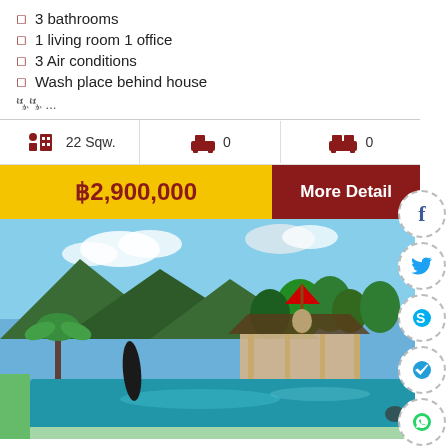3 bathrooms
1 living room 1 office
3 Air conditions
Wash place behind house
🀰🀰 ...
22 Sqw.   0   0
฿2,900,000   More Detail
[Figure (photo): Outdoor swimming pool with pavilion/gazebo, tropical trees, and green mountain backdrop at a Thai resort property]